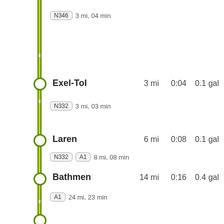[Figure (infographic): Navigation route step-by-step list showing waypoints with road badges, distances, times, and fuel consumption. Vertical green route line on left with white circles at each stop.]
N346  3 mi, 04 min
Exel-Tol  3 mi  0:04  0.1 gal
N332  3 mi, 03 min
Laren  6 mi  0:08  0.1 gal
N332  A1  8 mi, 08 min
Bathmen  14 mi  0:16  0.4 gal
A1  24 mi, 23 min
Nieuw-Milligen  39 mi  0:40  1.3 gal
N302  1 mi, 01 min
Meerveld  40 mi  0:41  1.3 gal
N302  1 mi, 01 mi...